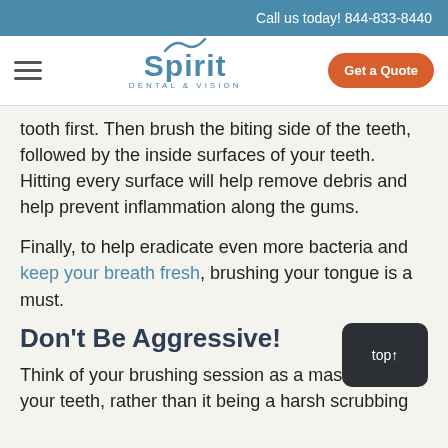Call us today! 844-833-8440
[Figure (logo): Spirit Dental & Vision logo with hamburger menu and Get a Quote button]
tooth first. Then brush the biting side of the teeth, followed by the inside surfaces of your teeth. Hitting every surface will help remove debris and help prevent inflammation along the gums.
Finally, to help eradicate even more bacteria and keep your breath fresh, brushing your tongue is a must.
Don't Be Aggressive!
Think of your brushing session as a massage for your teeth, rather than it being a harsh scrubbing